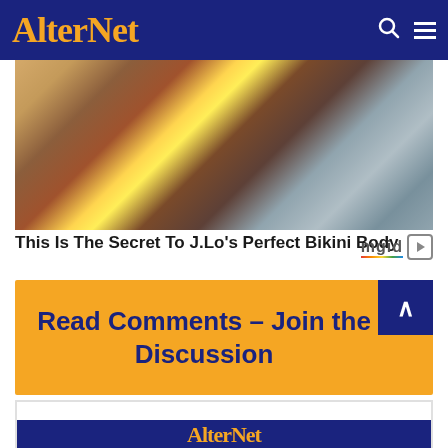AlterNet
[Figure (photo): A person in a yellow bikini on a boat, viewed from behind/side, leaning on white cushioned seats with water visible in background]
This Is The Secret To J.Lo's Perfect Bikini Body
[Figure (logo): mgid logo with colorful underline and play button icon]
Read Comments - Join the Discussion
[Figure (logo): AlterNet logo at bottom]